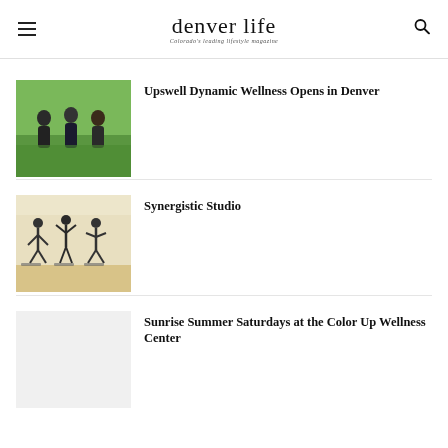denver life — Colorado's leading lifestyle magazine
Upswell Dynamic Wellness Opens in Denver
Synergistic Studio
Sunrise Summer Saturdays at the Color Up Wellness Center